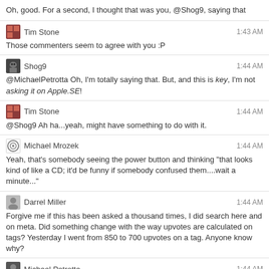Oh, good. For a second, I thought that was you, @Shog9, saying that
Tim Stone 1:43 AM
Those commenters seem to agree with you :P
Shog9 1:44 AM
@MichaelPetrotta Oh, I'm totally saying that. But, and this is key, I'm not asking it on Apple.SE!
Tim Stone 1:44 AM
@Shog9 Ah ha...yeah, might have something to do with it.
Michael Mrozek 1:44 AM
Yeah, that's somebody seeing the power button and thinking "that looks kind of like a CD; it'd be funny if somebody confused them....wait a minute..."
Darrel Miller 1:44 AM
Forgive me if this has been asked a thousand times, I did search here and on meta. Did something change with the way upvotes are calculated on tags? Yesterday I went from 850 to 700 upvotes on a tag. Anyone know why?
Michael Petrotta 1:44 AM
Perfectly fair question. It's a button, he's pressing it!
Yi Jiang 1:45 AM
@DarrelMiller A question was CW'd or deleted, I guess
Moshe 1:45 AM